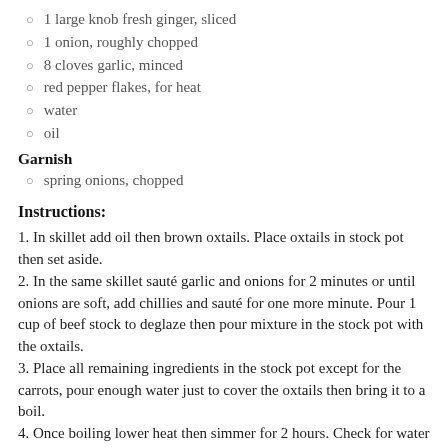1 large knob fresh ginger, sliced
1 onion, roughly chopped
8 cloves garlic, minced
red pepper flakes, for heat
water
oil
Garnish
spring onions, chopped
Instructions:
1. In skillet add oil then brown oxtails. Place oxtails in stock pot then set aside.
2. In the same skillet sauté garlic and onions for 2 minutes or until onions are soft, add chillies and sauté for one more minute. Pour 1 cup of beef stock to deglaze then pour mixture in the stock pot with the oxtails.
3. Place all remaining ingredients in the stock pot except for the carrots, pour enough water just to cover the oxtails then bring it to a boil.
4. Once boiling lower heat then simmer for 2 hours. Check for water level once in a while and add if it's needed.